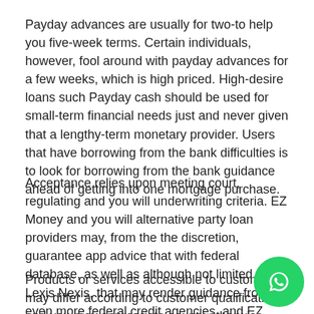Payday advances are usually for two-to help you five-week terms. Certain individuals, however, fool around with payday advances for a few weeks, which is high priced. High-desire loans such Payday cash should be used for small-term financial needs just and never given that a lengthy-term monetary provider. Users that have borrowing from the bank difficulties is to look for borrowing from the bank guidance ahead of getting into one mortgage purchase.
Acceptance relies upon meeting court, regulating and you will underwriting criteria. EZ Money and you will alternative party loan providers may, from the the discretion, guarantee app advice that with federal database, as well as although not limited to Lexis Nexis, that may render guidance from or even more federal credit agencies, and EZ Money usually takes you to definitely into account from the approval process.
Products or services accessible to customers may differ according to customer qualification and you may appropriate county or otherwise federal legislation. Genuine loan number differ. EZ